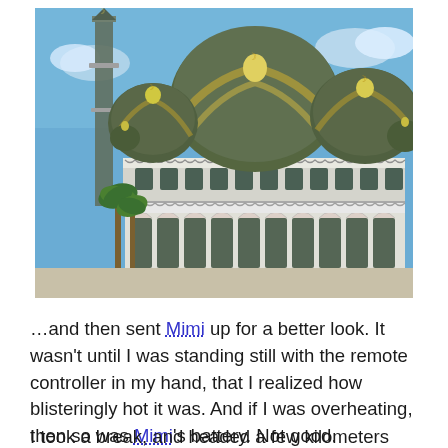[Figure (photo): Photo of a mosque with ornate white arches, green and gold domed roofs, a tall minaret, and palm trees against a blue sky — likely Crystal Mosque in Malaysia.]
…and then sent Mimi up for a better look. It wasn't until I was standing still with the remote controller in my hand, that I realized how blisteringly hot it was. And if I was overheating, then so was Mimi's battery. Not good.
I took a break, and headed a few kilometers further south